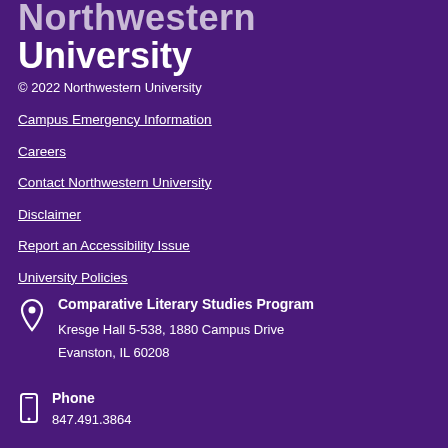Northwestern University
© 2022 Northwestern University
Campus Emergency Information
Careers
Contact Northwestern University
Disclaimer
Report an Accessibility Issue
University Policies
Comparative Literary Studies Program
Kresge Hall 5-538, 1880 Campus Drive
Evanston, IL 60208
Phone
847.491.3864